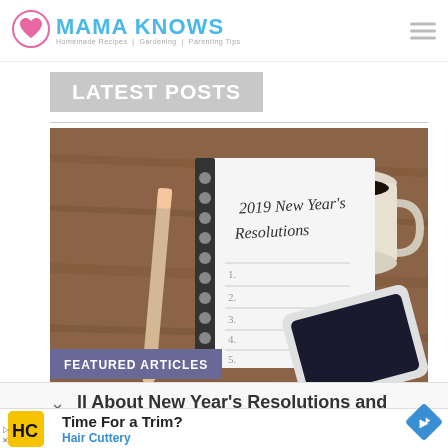[Figure (logo): Mama Knows logo with pink heart icon and teal text, tagline: Homemade Recipes | Gardening | Parenting Tips]
LATEST POSTS
[Figure (photo): Photo of a 2019 New Year's Resolutions notebook with a pencil, coffee cup, and smartphone on a wooden table]
FEATURED ARTICLES
ll About New Year's Resolutions and
[Figure (other): Hair Cuttery advertisement banner with yellow HC logo, Time For a Trim? headline, Hair Cuttery subtext, and blue navigation arrow icon]